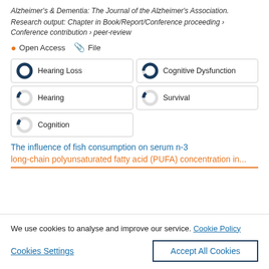Alzheimer's & Dementia: The Journal of the Alzheimer's Association.
Research output: Chapter in Book/Report/Conference proceeding › Conference contribution › peer-review
Open Access   File
Hearing Loss
Cognitive Dysfunction
Hearing
Survival
Cognition
The influence of fish consumption on serum n-3 long-chain polyunsaturated fatty acid (PUFA) concentration in...
We use cookies to analyse and improve our service. Cookie Policy
Cookies Settings   Accept All Cookies